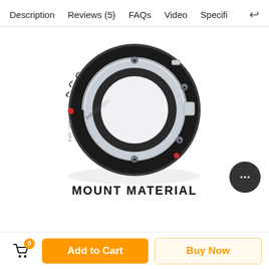Description | Reviews (5) | FAQs | Video | Specifi
[Figure (photo): K&F Concept lens mount adapter ring (OM to GFX) shown in black and silver metal, circular shape with screws, on white background]
MOUNT MATERIAL
Add to Cart | Buy Now | Cart icon with badge 0